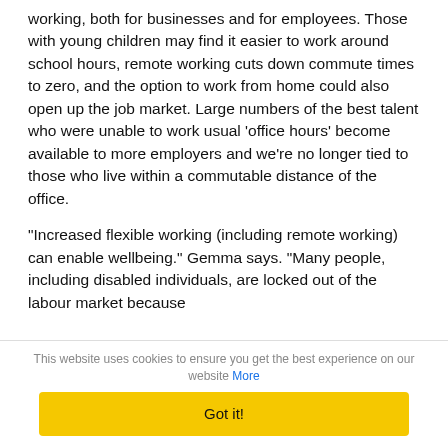working, both for businesses and for employees. Those with young children may find it easier to work around school hours, remote working cuts down commute times to zero, and the option to work from home could also open up the job market. Large numbers of the best talent who were unable to work usual 'office hours' become available to more employers and we're no longer tied to those who live within a commutable distance of the office.
“Increased flexible working (including remote working) can enable wellbeing.” Gemma says. “Many people, including disabled individuals, are locked out of the labour market because
This website uses cookies to ensure you get the best experience on our website More
Got it!